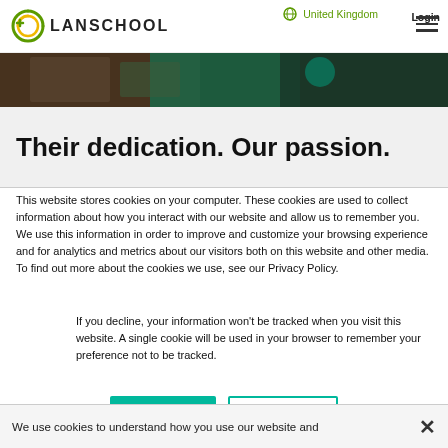United Kingdom  Login
[Figure (logo): LanSchool logo with circular icon and hamburger menu]
[Figure (photo): Hero image strip showing classroom or educational setting with dark green tones]
Their dedication. Our passion.
This website stores cookies on your computer. These cookies are used to collect information about how you interact with our website and allow us to remember you. We use this information in order to improve and customize your browsing experience and for analytics and metrics about our visitors both on this website and other media. To find out more about the cookies we use, see our Privacy Policy.
If you decline, your information won't be tracked when you visit this website. A single cookie will be used in your browser to remember your preference not to be tracked.
We use cookies to understand how you use our website and